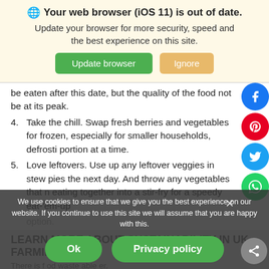Your web browser (iOS 11) is out of date. Update your browser for more security, speed and the best experience on this site.
be eaten after this date, but the quality of the food may not be at its peak.
4. Take the chill. Swap fresh berries and vegetables for frozen, especially for smaller households, defrosting a portion at a time.
5. Love leftovers. Use up any leftover veggies in stews or pies the next day. And throw any vegetables that need eating together into a stir-fry for a speedy eat-'em-up option.
LEARN MORE ABOUT SUSTAINABILITY IN UK FARMING
There is... food waste and... er.
We use cookies to ensure that we give you the best experience on our website. If you continue to use this site we will assume that you are happy with this.